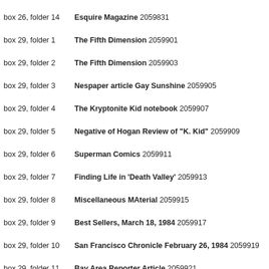box 26, folder 14   Esquire Magazine 2059831
box 29, folder 1   The Fifth Dimension 2059901
box 29, folder 2   The Fifth Dimension 2059903
box 29, folder 3   Nespaper article Gay Sunshine 2059905
box 29, folder 4   The Kryptonite Kid notebook 2059907
box 29, folder 5   Negative of Hogan Review of "K. Kid" 2059909
box 29, folder 6   Superman Comics 2059911
box 29, folder 7   Finding Life in 'Death Valley' 2059913
box 29, folder 8   Miscellaneous MAterial 2059915
box 29, folder 9   Best Sellers, March 18, 1984 2059917
box 29, folder 10   San Francisco Chronicle February 26, 1984 2059919
box 29, folder 11   Bay Area Reporter Article 2059921